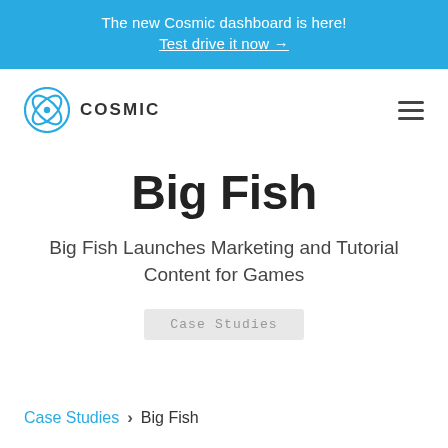The new Cosmic dashboard is here! Test drive it now →
[Figure (logo): Cosmic logo - stylized blue atom/flower icon with text COSMIC]
Big Fish
Big Fish Launches Marketing and Tutorial Content for Games
Case Studies
Case Studies > Big Fish